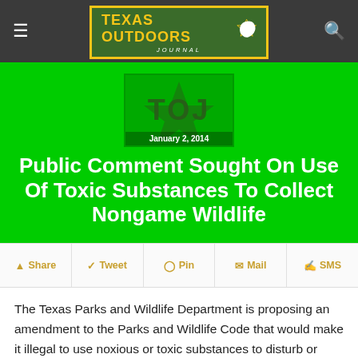Texas Outdoors Journal
[Figure (logo): Texas Outdoors Journal logo with TOJ letters and Texas state silhouette on dark green background with gold border]
January 2, 2014
Public Comment Sought On Use Of Toxic Substances To Collect Nongame Wildlife
Share | Tweet | Pin | Mail | SMS
The Texas Parks and Wildlife Department is proposing an amendment to the Parks and Wildlife Code that would make it illegal to use noxious or toxic substances to disturb or collect nongame wildlife as well as prohibiting